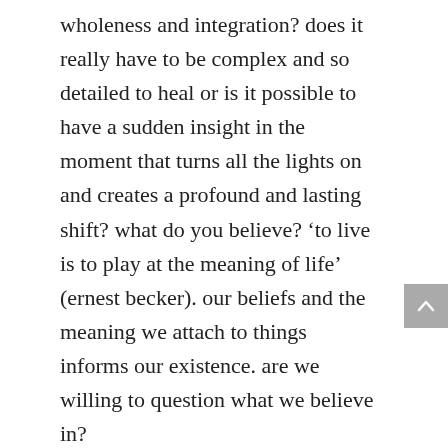wholeness and integration? does it really have to be complex and so detailed to heal or is it possible to have a sudden insight in the moment that turns all the lights on and creates a profound and lasting shift? what do you believe? ‘to live is to play at the meaning of life’ (ernest becker). our beliefs and the meaning we attach to things informs our existence. are we willing to question what we believe in?

we also have venus and uranus just separating from conjunction (exact earlier in the morning before the full moon). and